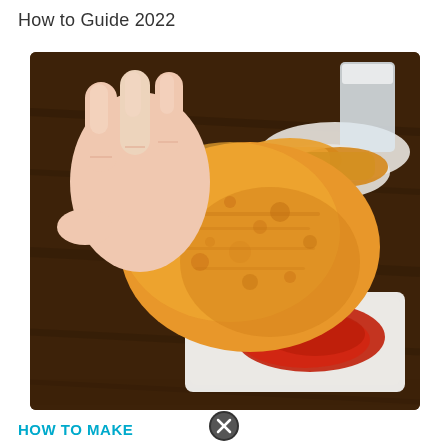How to Guide 2022
[Figure (photo): A hand holding a golden-brown hash brown patty being dipped into ketchup on a white rectangular dish. Additional hash browns and a glass of milk are visible in the background on a dark wooden surface.]
HOW TO MAKE
[Figure (other): A circular close button (X icon) in dark color]